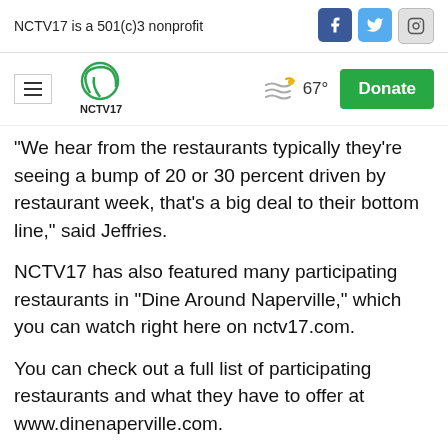NCTV17 is a 501(c)3 nonprofit
[Figure (logo): NCTV17 logo with hamburger menu, weather icon showing 67 degrees, and green Donate button]
"We hear from the restaurants typically they're seeing a bump of 20 or 30 percent driven by restaurant week, that's a big deal to their bottom line," said Jeffries.
NCTV17 has also featured many participating restaurants in "Dine Around Naperville," which you can watch right here on nctv17.com.
You can check out a full list of participating restaurants and what they have to offer at www.dinenaperville.com.
Naperville News 17's Blane Erwin reports.